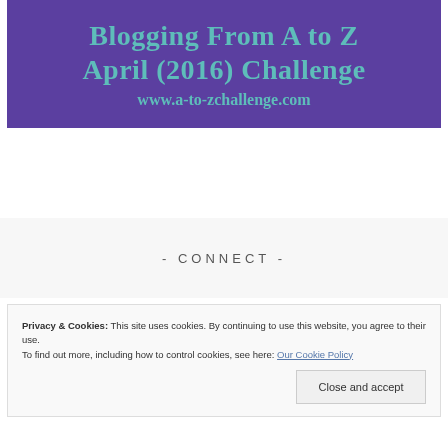[Figure (illustration): Purple banner image for Blogging From A to Z April (2016) Challenge with teal text and URL www.a-to-zchallenge.com]
- CONNECT -
Privacy & Cookies: This site uses cookies. By continuing to use this website, you agree to their use.
To find out more, including how to control cookies, see here: Our Cookie Policy
Close and accept